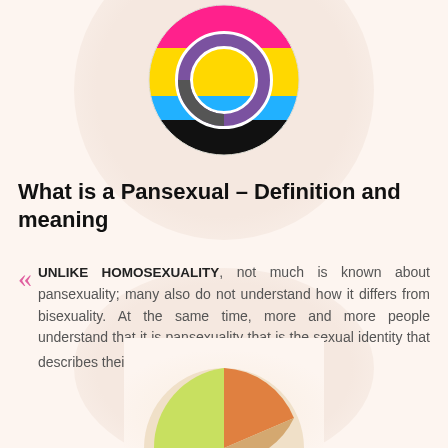[Figure (illustration): Circular pansexual pride flag icon with overlapping ring symbol in center, showing pink, yellow, cyan, and black stripes with a white/purple/gray ring overlay]
What is a Pansexual – Definition and meaning
UNLIKE HOMOSEXUALITY, not much is known about pansexuality; many also do not understand how it differs from bisexuality. At the same time, more and more people understand that it is pansexuality that is the sexual identity that describes their own…
[Figure (illustration): Partial circular colorful illustration visible at the bottom of the page, appearing to be another pride-related graphic]